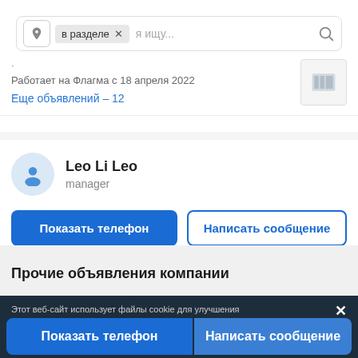[Figure (screenshot): Search bar with location pin icon, 'в разделе' tag with X, and search placeholder 'я ищу...' with search icon]
Работает на Флагма с 18 апреля 2022
Еще объявлений – 12
Leo Li Leo
manager
Показать телефон
Написать сообщение
Прочие объявления компании
Этот веб-сайт использует файлы cookie для улучшения
Показать телефон
Написать сообщение